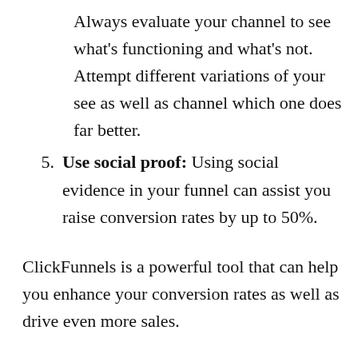Always evaluate your channel to see what's functioning and what's not. Attempt different variations of your see as well as channel which one does far better.
5. Use social proof: Using social evidence in your funnel can assist you raise conversion rates by up to 50%.
ClickFunnels is a powerful tool that can help you enhance your conversion rates as well as drive even more sales.
These pointers will certainly assist you get one of the most out of using ClickFunnels.